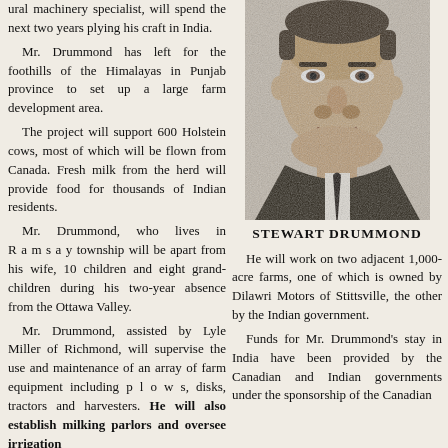ural machinery specialist, will spend the next two years plying his craft in India. Mr. Drummond has left for the foothills of the Himalayas in Punjab province to set up a large farm development area. The project will support 600 Holstein cows, most of which will be flown from Canada. Fresh milk from the herd will provide food for thousands of Indian residents. Mr. Drummond, who lives in R a m s a y township will be apart from his wife, 10 children and eight grandchildren during his two-year absence from the Ottawa Valley. Mr. Drummond, assisted by Lyle Miller of Richmond, will supervise the use and maintenance of an array of farm equipment including p l o w s, disks, tractors and harvesters. He will also establish milking parlors and oversee irrigation
[Figure (photo): Black and white portrait photograph of Stewart Drummond, a middle-aged man in a suit and tie.]
STEWART DRUMMOND
He will work on two adjacent 1,000-acre farms, one of which is owned by Dilawri Motors of Stittsville, the other by the Indian government. Funds for Mr. Drummond's stay in India have been provided by the Canadian and Indian governments under the sponsorship of the Canadian